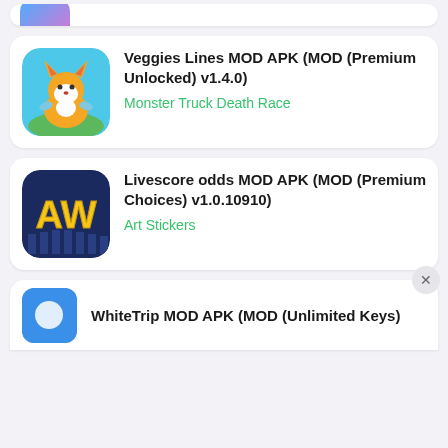[Figure (screenshot): Partial top card with colored app icon (blue/pink gradient) partially visible]
Veggies Lines MOD APK (MOD (Premium Unlocked) v1.4.0)
Monster Truck Death Race
[Figure (screenshot): Fox app icon on teal background for Veggies Lines card]
Livescore odds MOD APK (MOD (Premium Choices) v1.0.10910)
Art Stickers
[Figure (screenshot): AW letter logo on dark blue background for Livescore odds card]
WhiteTrip MOD APK (MOD (Unlimited Keys)
[Figure (screenshot): Partial bottom card with blue circular icon and WhiteTrip text]